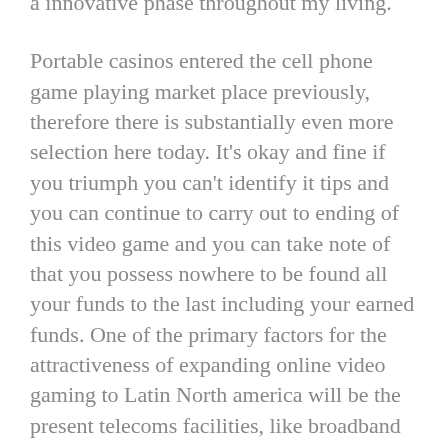a innovative phase throughout my living.
Portable casinos entered the cell phone game playing market place previously, therefore there is substantially even more selection here today. It's okay and fine if you triumph you can't identify it tips and you can continue to carry out to ending of this video game and you can take note of that you possess nowhere to be found all your funds to the last including your earned funds. One of the primary factors for the attractiveness of expanding online video gaming to Latin North america will be the present telecoms facilities, like broadband convenience and cellular Web.
They assist you, cheer you and provide you a great simple thought of just how to gain the internet casino complement without losing any funds. They are the most commonly played game titles in the world of casino playing. Over